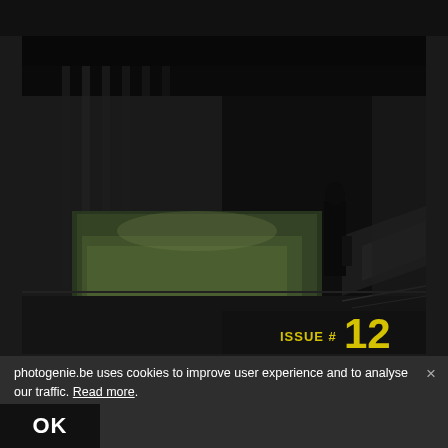[Figure (photo): A person standing in a dark architectural space, looking at a glass-enclosed area with grass and natural light. The scene is dark with dramatic lighting highlighting the enclosed garden area. Bottom right shows 'ISSUE # 12' in yellow text.]
photogenie.be uses cookies to improve user experience and to analyse our traffic. Read more.
OK